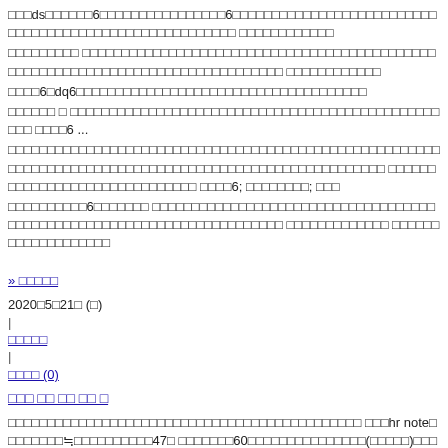□□□ds□□□□□□6□□□□□□□□□□□□□□□□6□□□□□□□□□□□□□□□□□□□□□□□□□□□□□□□□□□□□□□□□□□□□□□□□□□□□□□□
□□□□□□□□□□□□□□□□□□□□□□□□□□□□□□□□□□□□□□□□□□□□□□□□□□□□□□□□□□□□□□□□□□□□□□□□□□□□□□
□□□□6□dq6□□□□□□□□□□□□□□□□□□□□□□□□□□□□
□□□□□□ □ □□□□□□□□□□□□□□□□□□□□□□□□□□□□□□□□□□□□□□□□□□□□□□□□□□ □□□□6 ...
□□□□□□□□□□□□□□□□□□□□□□□□□□□□□□□□□□□□□□□□□□□□□□□□□□□□□□□□□□□□□□□□□□□□□□□□□□□□□□□□□□□□□□
□□□□□□□□□□□□□□□□□□□□□□□□□□□□□ □□□□6; □□□□□□□□; □□□
□□□□□□□□□□6□□□□□□□ □□□□□□□□□□□□□□□□□□□□□□□□□□□□□□□□□□□□□□□□□□□□□□□□□□□□□□□□□□□□□□□□□□□□□□□
□□□□□□□□□□□□□ □□□□□□□□□□□□□□□□□□□
» □□□□□
2020□5□21□ (□)
|
□□□□□
|
□□□□ (0)
□□□ □□ □□ □□ □
□□□□□□□□□□□□□□□□□□□□□□□□□□□□□□□□□□□□□□□□□□□ □□□hr note□□□□□□□□≒□□□□□□□□□□47□□□□□□□60□□□□□□□□□□□□□□□(□□□□□)□□□□□□□□□□□□□□□□□□ □□□□□□□□□□□□□□□□□□□□□